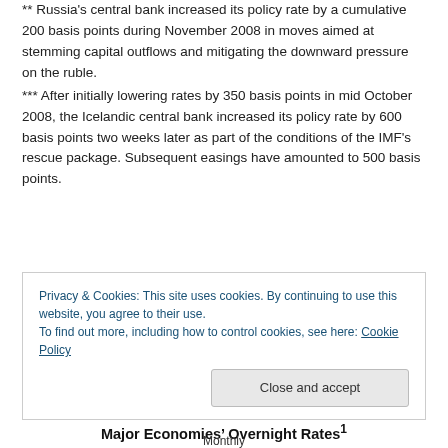** Russia's central bank increased its policy rate by a cumulative 200 basis points during November 2008 in moves aimed at stemming capital outflows and mitigating the downward pressure on the ruble.
*** After initially lowering rates by 350 basis points in mid October 2008, the Icelandic central bank increased its policy rate by 600 basis points two weeks later as part of the conditions of the IMF's rescue package. Subsequent easings have amounted to 500 basis points.
Privacy & Cookies: This site uses cookies. By continuing to use this website, you agree to their use. To find out more, including how to control cookies, see here: Cookie Policy
Major Economies' Overnight Rates¹